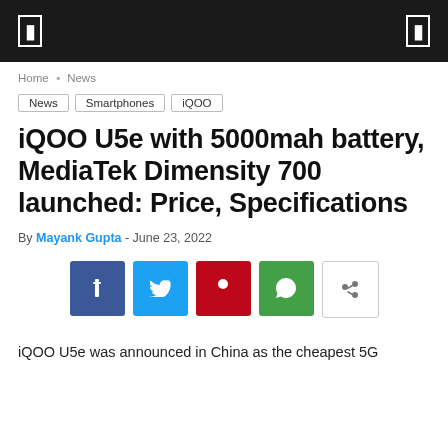[ navigation icons ]
Home › News
News
Smartphones
iQOO
iQOO U5e with 5000mah battery, MediaTek Dimensity 700 launched: Price, Specifications
By Mayank Gupta - June 23, 2022
[Figure (other): Social sharing buttons: Facebook, Twitter, Pinterest, WhatsApp, Share]
iQOO U5e was announced in China as the cheapest 5G